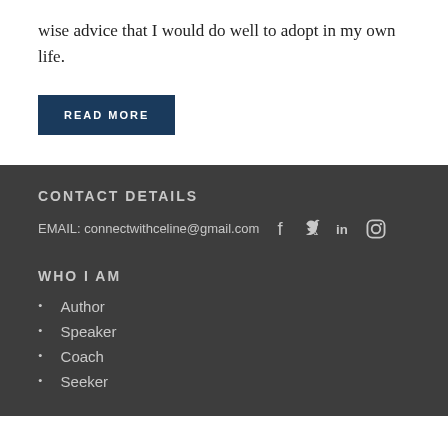wise advice that I would do well to adopt in my own life.
READ MORE
CONTACT DETAILS
EMAIL: connectwithceline@gmail.com
WHO I AM
Author
Speaker
Coach
Seeker